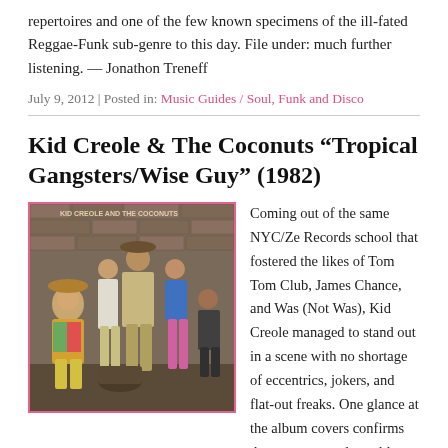repertoires and one of the few known specimens of the ill-fated Reggae-Funk sub-genre to this day. File under: much further listening. — Jonathon Treneff
July 9, 2012 | Posted in: Music Guides / Soul, Funk and Disco
Kid Creole & The Coconuts “Tropical Gangsters/Wise Guy” (1982)
[Figure (photo): Album cover photo of Kid Creole & The Coconuts showing a group of people in tropical/retro styled clothing posed against a brick wall background with a pink border]
Coming out of the same NYC/Ze Records school that fostered the likes of Tom Tom Club, James Chance, and Was (Not Was), Kid Creole managed to stand out in a scene with no shortage of eccentrics, jokers, and flat-out freaks. One glance at the album covers confirms that no two words could have better summed up the entire ethos of this bizarre ensemble better than Tropical